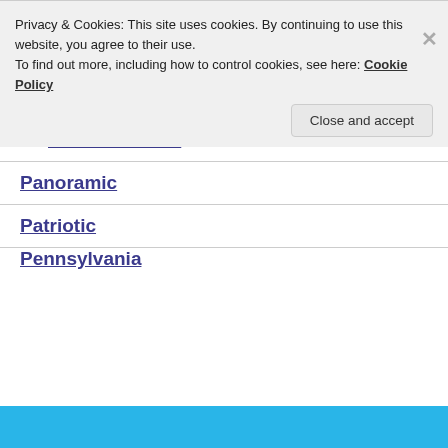Focal Point 2.1
Perfect B&W 1
Perfect Effects 4
Perfect Mask 5.2
Panoramic
Patriotic
Pennsylvania
Privacy & Cookies: This site uses cookies. By continuing to use this website, you agree to their use. To find out more, including how to control cookies, see here: Cookie Policy
Close and accept